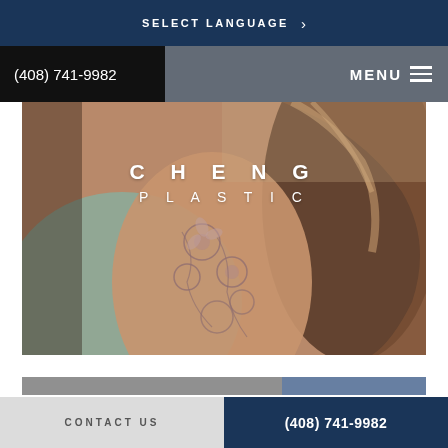SELECT LANGUAGE >
(408) 741-9982   MENU
[Figure (photo): Woman with floral tattoo on her arm and shoulder, wearing a sage green top, with flowing hair, used as hero image for Cheng Plastic Surgery website]
CHENG PLASTIC
CONTACT US   (408) 741-9982